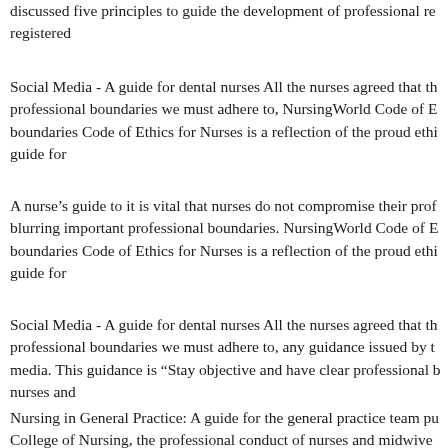discussed five principles to guide the development of professional re registered
Social Media - A guide for dental nurses All the nurses agreed that th professional boundaries we must adhere to, NursingWorld Code of E boundaries Code of Ethics for Nurses is a reflection of the proud ethi guide for
A nurse's guide to it is vital that nurses do not compromise their prof blurring important professional boundaries. NursingWorld Code of E boundaries Code of Ethics for Nurses is a reflection of the proud ethi guide for
Social Media - A guide for dental nurses All the nurses agreed that th professional boundaries we must adhere to, any guidance issued by t media. This guidance is “Stay objective and have clear professional b nurses and
Nursing in General Practice: A guide for the general practice team pu College of Nursing, the professional conduct of nurses and midwive